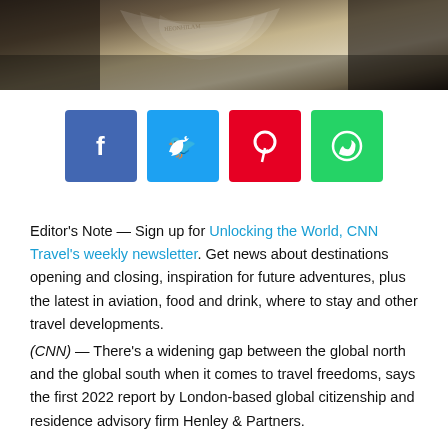[Figure (photo): Photograph of a person's hands holding open a book or passport, partial view from above]
[Figure (infographic): Social media share buttons: Facebook (blue), Twitter (light blue), Pinterest (red), WhatsApp (green)]
Editor's Note — Sign up for Unlocking the World, CNN Travel's weekly newsletter. Get news about destinations opening and closing, inspiration for future adventures, plus the latest in aviation, food and drink, where to stay and other travel developments.
(CNN) — There's a widening gap between the global north and the global south when it comes to travel freedoms, says the first 2022 report by London-based global citizenship and residence advisory firm Henley & Partners.